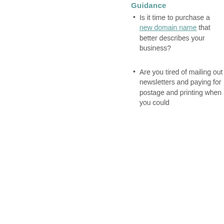Guidance
Is it time to purchase a new domain name that better describes your business?
Are you tired of mailing out newsletters and paying for postage and printing when you could